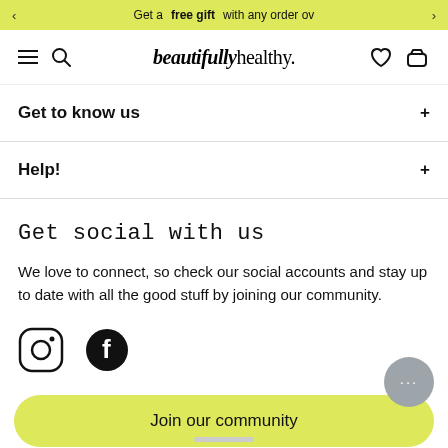Get a free gift with any order ov
[Figure (logo): beautifullyhealthy. logo with hamburger menu, search, heart and basket icons]
Get to know us
Help!
Get social with us
We love to connect, so check our social accounts and stay up to date with all the good stuff by joining our community.
[Figure (illustration): Instagram and Facebook social media icons]
Join our community